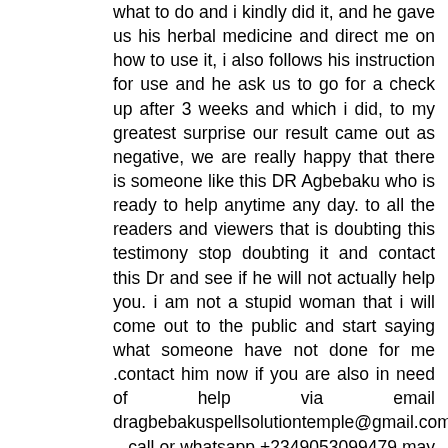what to do and i kindly did it, and he gave us his herbal medicine and direct me on how to use it, i also follows his instruction for use and he ask us to go for a check up after 3 weeks and which i did, to my greatest surprise our result came out as negative, we are really happy that there is someone like this DR Agbebaku who is ready to help anytime any day. to all the readers and viewers that is doubting this testimony stop doubting it and contact this Dr and see if he will not actually help you. i am not a stupid woman that i will come out to the public and start saying what someone have not done for me .contact him now if you are also in need of help via email dragbebakuspellsolutiontemple@gmail.com    call or whatsapp +2349053099479 may bless you sir for all your good works. contact dr Agbebaku today for your following diseases below HIV/AIDS   DIABETES   HPV   PENIS ENLARGEMENT BRAIN TOMOUR, see more at;https://dragbebakuherbalho.wixsite.com/solutioncenter